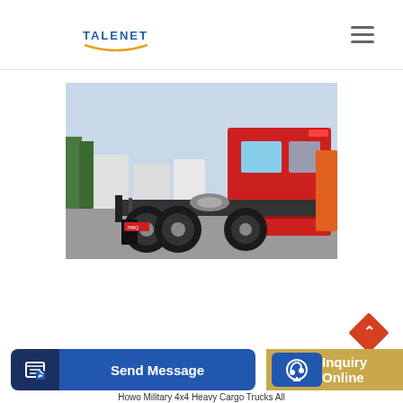TALENET
[Figure (photo): Red Howo heavy cargo truck tractor unit photographed from rear-left angle in a truck yard, with multiple white trucks visible in background. The truck is a 6x4 configuration with a prominent red sleeper cab.]
[Figure (other): Back to top button (orange diamond/rhombus shape with upward chevron arrow)]
[Figure (other): Send Message button - dark blue rounded rectangle with document/edit icon on left and 'Send Message' text]
[Figure (other): Inquiry Online button - gold/tan background with blue circle headset icon and 'Inquiry Online' text in white]
Howo Military 4x4 Heavy Cargo Trucks All